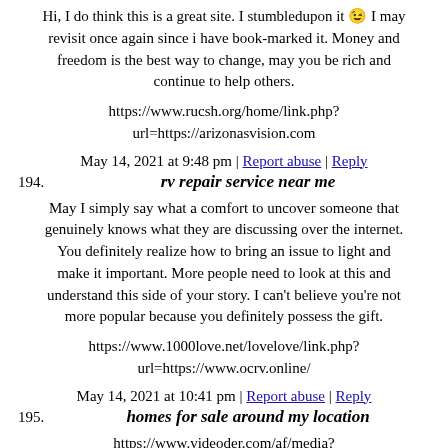Hi, I do think this is a great site. I stumbledupon it 😉 I may revisit once again since i have book-marked it. Money and freedom is the best way to change, may you be rich and continue to help others.
https://www.rucsh.org/home/link.php?url=https://arizonasvision.com
May 14, 2021 at 9:48 pm | Report abuse | Reply
194. rv repair service near me
May I simply say what a comfort to uncover someone that genuinely knows what they are discussing over the internet. You definitely realize how to bring an issue to light and make it important. More people need to look at this and understand this side of your story. I can't believe you're not more popular because you definitely possess the gift.
https://www.1000love.net/lovelove/link.php?url=https://www.ocrv.online/
May 14, 2021 at 10:41 pm | Report abuse | Reply
195. homes for sale around my location
https://www.videoder.com/af/media?